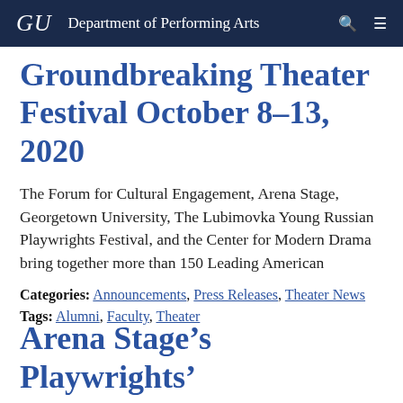GU  Department of Performing Arts
Groundbreaking Theater Festival October 8-13, 2020
The Forum for Cultural Engagement, Arena Stage, Georgetown University, The Lubimovka Young Russian Playwrights Festival, and the Center for Modern Drama bring together more than 150 Leading American
Categories: Announcements, Press Releases, Theater News
Tags: Alumni, Faculty, Theater
Arena Stage’s Playwrights’